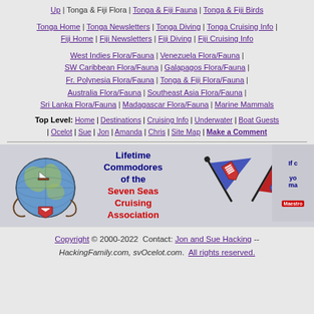Up | Tonga & Fiji Flora | Tonga & Fiji Fauna | Tonga & Fiji Birds
Tonga Home | Tonga Newsletters | Tonga Diving | Tonga Cruising Info | Fiji Home | Fiji Newsletters | Fiji Diving | Fiji Cruising Info
West Indies Flora/Fauna | Venezuela Flora/Fauna | SW Caribbean Flora/Fauna | Galapagos Flora/Fauna | Fr. Polynesia Flora/Fauna | Tonga & Fiji Flora/Fauna | Australia Flora/Fauna | Southeast Asia Flora/Fauna | Sri Lanka Flora/Fauna | Madagascar Flora/Fauna | Marine Mammals
Top Level: Home | Destinations | Cruising Info | Underwater | Boat Guests | Ocelot | Sue | Jon | Amanda | Chris | Site Map | Make a Comment
[Figure (illustration): Banner showing globe with sailboat, text 'Lifetime Commodores of the Seven Seas Cruising Association', and two crossed flags (blue and red burgees with shield emblem)]
Copyright © 2000-2022  Contact: Jon and Sue Hacking -- HackingFamily.com, svOcelot.com.  All rights reserved.